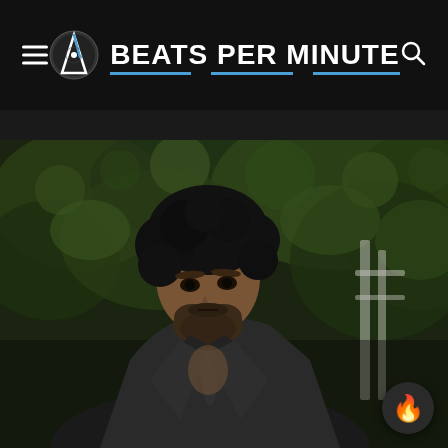BEATS PER MINUTE
[Figure (photo): A bearded man with curly dark hair wearing a grey blazer, photographed against a background of green foliage and a white structure. Music website header photo.]